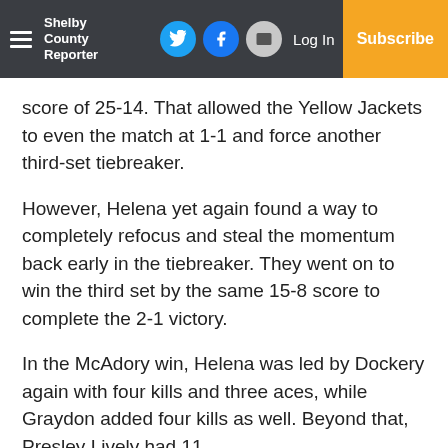Shelby County Reporter | Log In | Subscribe
score of 25-14. That allowed the Yellow Jackets to even the match at 1-1 and force another third-set tiebreaker.
However, Helena yet again found a way to completely refocus and steal the momentum back early in the tiebreaker. They went on to win the third set by the same 15-8 score to complete the 2-1 victory.
In the McAdory win, Helena was led by Dockery again with four kills and three aces, while Graydon added four kills as well. Beyond that, Presley Lively had 11